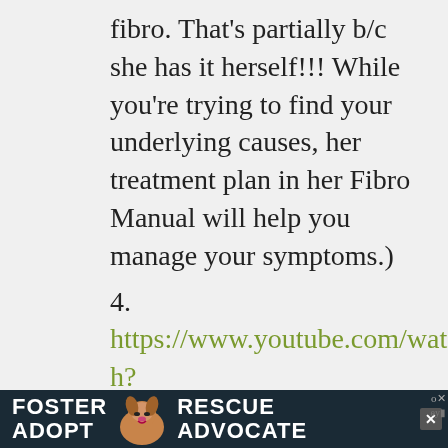fibro. That's partially b/c she has it herself!!! While you're trying to find your underlying causes, her treatment plan in her Fibro Manual will help you manage your symptoms.)
4. https://www.youtube.com/watch?v=qG3MWTRmPI8&t=2448s – I recommend this video from Drs. Rutherford and Gates to EVERYONE w/ fibro. It's great foundational info on what fibro is and how it needs to be
[Figure (other): Advertisement banner: Foster Adopt Advocate with a dog image, teal/dark background]